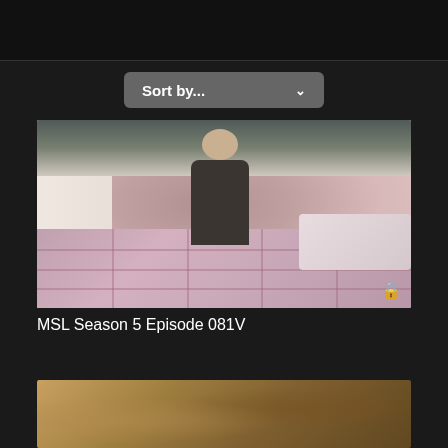[Figure (screenshot): Dark header/navigation bar at top of webpage]
[Figure (other): Sort by... dropdown button with chevron]
[Figure (screenshot): Video thumbnail showing a woman in dark sweater arranging plaid fabric/bedding on a bed, with plants and shelves in background. Lock icon in bottom right corner.]
MSL Season 5 Episode 081V
[Figure (screenshot): Partial video thumbnail showing decorative fabric or pattern, partially visible at bottom of page]